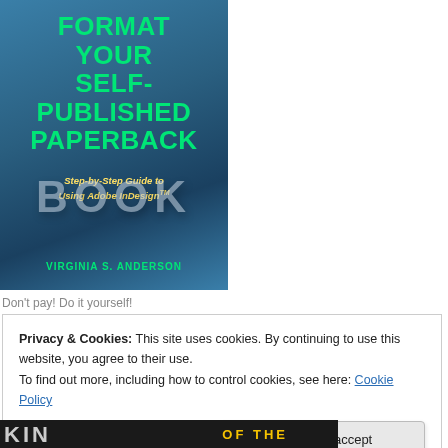[Figure (illustration): Book cover for 'Format Your Self-Published Paperback: Step-by-Step Guide to Using Adobe InDesign' by Virginia S. Anderson. Teal/blue background with large green title text, yellow subtitle, 3D 'BOOK' text, and green author name.]
Don't pay! Do it yourself!
Privacy & Cookies: This site uses cookies. By continuing to use this website, you agree to their use.
To find out more, including how to control cookies, see here: Cookie Policy
[Figure (photo): Bottom strip showing partial text of another book cover with large dark letters and 'OF THE' in yellow background.]